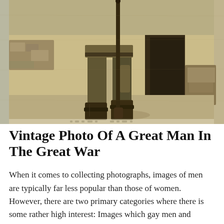[Figure (photo): Vintage black-and-white/sepia photograph of a soldier (from the legs down) standing outdoors in military uniform and boots, holding a large rifle or weapon vertically. Stone walls and rubble visible in the background. The top of the soldier's head is cropped out of frame.]
Vintage Photo Of A Great Man In The Great War
When it comes to collecting photographs, images of men are typically far less popular than those of women. However, there are two primary categories where there is some rather high interest: Images which gay men and images from the military. This